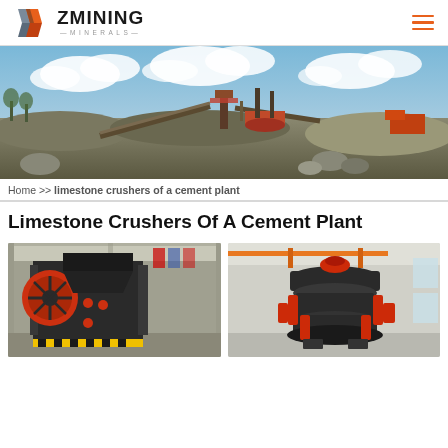ZMINING MINERALS
[Figure (photo): Panoramic photo of an open-pit mining/crushing plant with conveyor belts, industrial structures, machinery, and stockpiles of crushed stone under a cloudy sky]
Home >> limestone crushers of a cement plant
Limestone Crushers Of A Cement Plant
[Figure (photo): Photo of a large red and black jaw crusher machine inside an industrial hall]
[Figure (photo): Photo of a large grey and red cone crusher machine inside a warehouse/exhibition hall]